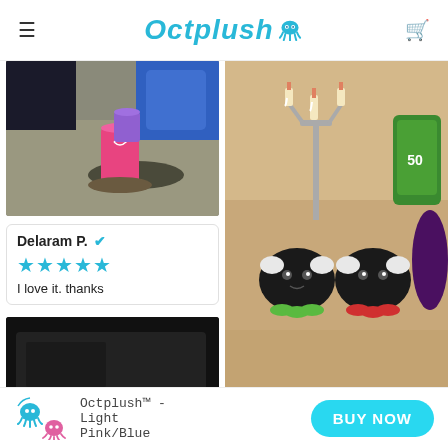Octplush (logo with hamburger menu and cart icon)
[Figure (photo): Photo of colorful drinks (pink and purple) on a cafe table]
Delaram P. ✔
★★★★★
I love it. thanks
[Figure (photo): Dark bottom section of another review photo]
[Figure (photo): Two black octopus plush toys with candelabra on a table, next to green snack bag]
Octplush™ - Light Pink/Blue   BUY NOW